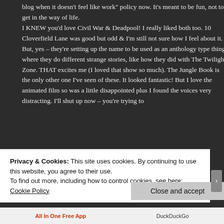blog when it doesn't feel like work" policy now. It's meant to be fun, not to get in the way of life. I KNEW you'd love Civil War & Deadpool! I really liked both too. 10 Cloverfield Lane was good but odd & I'm still not sure how I feel about it. But, yes – they're setting up the name to be used as an anthology type thing where they do different strange stories, like how they did with The Twilight Zone. THAT excites me (I loved that show so much). The Jungle Book is the only other one I've seen of these. It looked fantastic! But I love the animated film so was a little disappointed plus I found the voices very distracting. I'll shut up now – you're trying to
Privacy & Cookies: This site uses cookies. By continuing to use this website, you agree to their use.
To find out more, including how to control cookies, see here: Cookie Policy
Close and accept
All In One Free App
DuckDuckGo